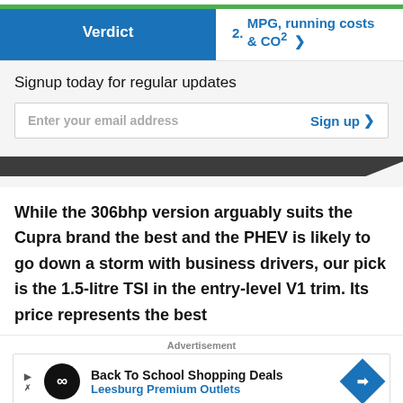Verdict | 2. MPG, running costs & CO2 >
Signup today for regular updates
Enter your email address  Sign up >
While the 306bhp version arguably suits the Cupra brand the best and the PHEV is likely to go down a storm with business drivers, our pick is the 1.5-litre TSI in the entry-level V1 trim. Its price represents the best
Advertisement
[Figure (screenshot): Advertisement banner: Back To School Shopping Deals - Leesburg Premium Outlets]